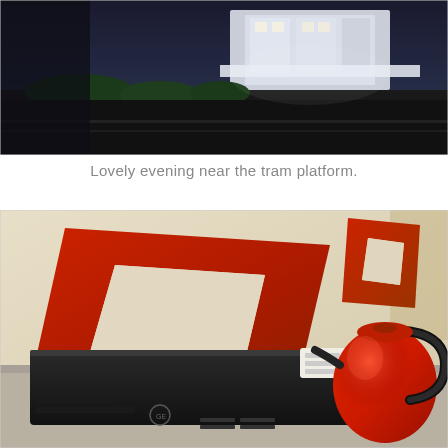[Figure (photo): Evening photo near a tram platform showing a large white building structure illuminated at night, with dark surroundings and green landscaping.]
Lovely evening near the tram platform.
[Figure (photo): Interior room photo showing two red square frame decorations on a cream/beige wall, with a black appliance or receiver on a counter and a red kettle on the right side.]